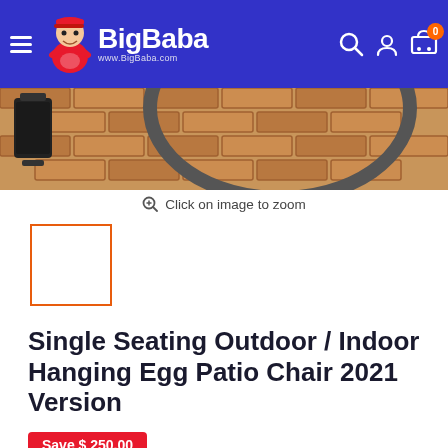BigBaba www.BigBaba.com
[Figure (photo): Partial view of a hanging egg patio chair frame on a brick patio with a black lantern visible]
Click on image to zoom
[Figure (photo): Thumbnail image of the hanging egg patio chair (selected, outlined in orange)]
Single Seating Outdoor / Indoor Hanging Egg Patio Chair 2021 Version
Save $ 250.00